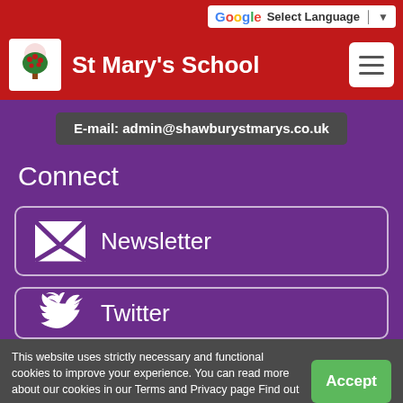St Mary's School
E-mail: admin@shawburystmarys.co.uk
Connect
Newsletter
Twitter
This website uses strictly necessary and functional cookies to improve your experience. You can read more about our cookies in our Terms and Privacy page Find out more.